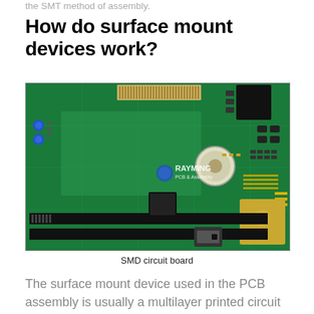the SMT method of assembly.
How do surface mount devices work?
[Figure (photo): Close-up photograph of a green SMD (Surface Mount Device) circuit board with various electronic components including connectors, chips, capacitors, and a battery holder. Center watermark reads 'RAYMING PCB & Assembly'.]
SMD circuit board
The surface mount device used in the PCB assembly is usually a multilayer printed circuit board. It has traces of copper on the